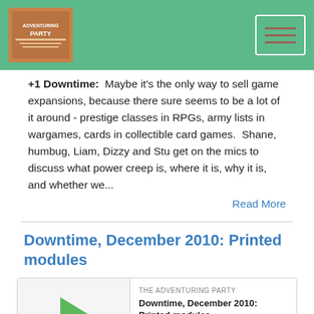[Figure (logo): The Adventuring Party podcast logo and header navigation bar with green background and hamburger menu button]
+1 Downtime: Maybe it's the only way to sell game expansions, because there sure seems to be a lot of it around - prestige classes in RPGs, army lists in wargames, cards in collectible card games. Shane, humbug, Liam, Dizzy and Stu get on the mics to discuss what power creep is, where it is, why it is, and whether we...
Read More
Downtime, December 2010: Printed modules
[Figure (other): Podcast audio player widget showing THE ADVENTURING PARTY label, episode title Downtime December 2010 Printed modules, play button, progress bar, time display 00:00:00, and control icons]